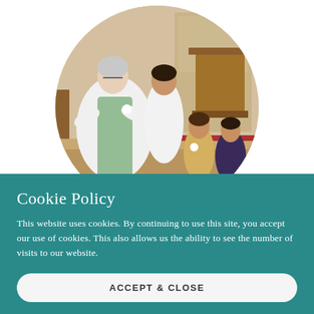[Figure (photo): A circular-cropped photograph showing a church interior scene: an elderly woman in white vestments with green accents sits and interacts with children — an older child in white beside her, and two toddlers sitting on steps in the foreground. Church pews and altar furniture visible in the background.]
Cookie Policy
This website uses cookies. By continuing to use this site, you accept our use of cookies. This also allows us the ability to see the number of visits to our website.
ACCEPT & CLOSE